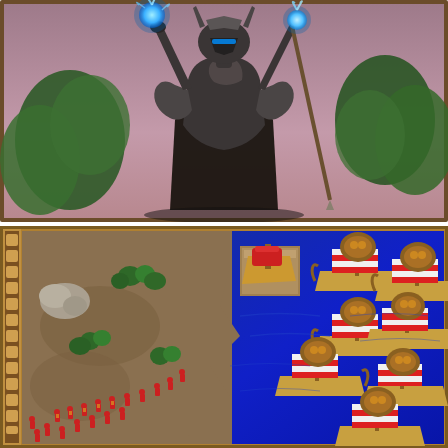[Figure (illustration): 3D rendered image of a dark armored warrior or sorcerer figure wearing a horned helmet, raising both arms upward with glowing blue orbs/flames in each hand, with a spear or staff in one hand. Background shows a pinkish-purple sky and green foliage. Appears to be a screenshot or promotional image from a fantasy video game.]
[Figure (screenshot): Isometric strategy video game screenshot showing a coastal battle scene. Left side shows brown terrain with red-uniformed soldiers and trees. Right side shows deep blue water with multiple large Viking-style longships with red and white striped sails and carved dragon/warrior prow figures. A docked vessel is visible at the water's edge. Appears to be from a classic real-time strategy game.]